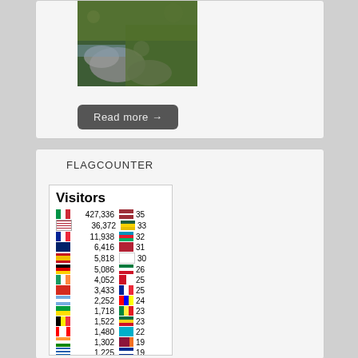[Figure (photo): Nature photo showing mossy rocks with green vegetation and water]
Read more →
FLAGCOUNTER
| Flag | Visitors | Flag | Count |
| --- | --- | --- | --- |
| IT | 427,336 | LV | 35 |
| US | 36,372 | RW | 33 |
| FR | 11,938 | AZ | 32 |
| GB | 6,416 | BR2 | 31 |
| ES | 5,818 | IL | 30 |
| DE | 5,086 | SY | 26 |
| IRL | 4,052 | BH | 25 |
| CH | 3,433 | FR | 25 |
| AR | 2,252 | MULTI | 24 |
| BR | 1,718 | SN | 23 |
| BE | 1,522 | GH | 23 |
| CA | 1,480 | KZ | 22 |
| IN | 1,302 | LK | 19 |
| GR | 1,225 | CU | 19 |